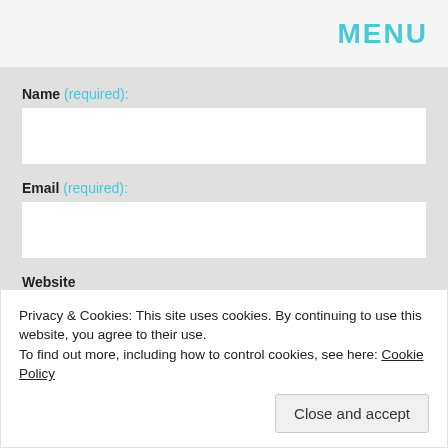MENU
Name (required):
Email (required):
Website
Privacy & Cookies: This site uses cookies. By continuing to use this website, you agree to their use.
To find out more, including how to control cookies, see here: Cookie Policy
Close and accept